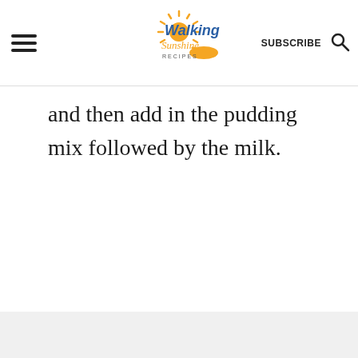Walking Sunshine Recipes | SUBSCRIBE
and then add in the pudding mix followed by the milk.